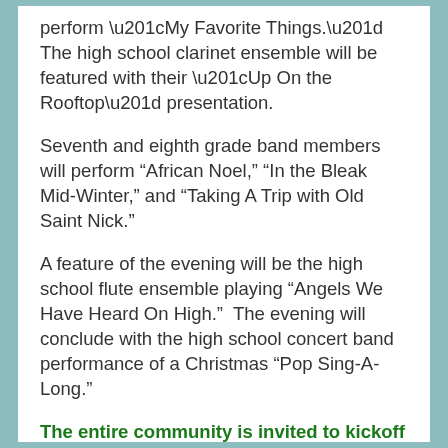perform “My Favorite Things.”  The high school clarinet ensemble will be featured with their “Up On the Rooftop” presentation.
Seventh and eighth grade band members will perform “African Noel,” “In the Bleak Mid-Winter,” and “Taking A Trip with Old Saint Nick.”
A feature of the evening will be the high school flute ensemble playing “Angels We Have Heard On High.”  The evening will conclude with the high school concert band performance of a Christmas “Pop Sing-A-Long.”
The entire community is invited to kickoff the holiday season during this evening of fun and entertainment!